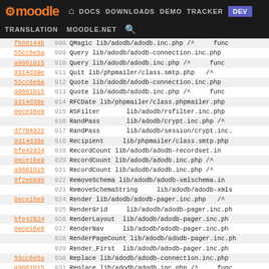Moodle DEV navigation bar with DOCS DOWNLOADS DEMO TRACKER DEV links and TRANSLATION MOODLE.NET search
| link | num | name | path |
| --- | --- | --- | --- |
| fb88144b | 908 | QMagic | lib/adodb/adodb.inc.php /^  func |
| 55cc6e5a | 909 | Query | lib/adodb/adodb-connection.inc.php |
| a9661015 | 910 | Query | lib/adodb/adodb.inc.php /^  func |
| 9314d39e | 911 | Quit | lib/phpmailer/class.smtp.php  /^ |
| 55cc6e5a | 912 | Quote | lib/adodb/adodb-connection.inc.php |
| a9661015 | 913 | Quote | lib/adodb/adodb.inc.php /^  func |
| 9314d39e | 914 | RFCDate | lib/phpmailer/class.phpmailer.php |
| 0ece16e9 | 915 | RSFilter | lib/adodb/rsfilter.inc.php |
|  | 916 | RandPass | lib/adodb/crypt.inc.php /^ |
| d77b4922 | 917 | RandPass | lib/adodb/session/crypt.inc. |
| 9314d39e | 918 | Recipient | lib/phpmailer/class.smtp.php |
| bfe42924 | 919 | RecordCount | lib/adodb/adodb-recordset.in |
| 0ece16e9 | 920 | RecordCount | lib/adodb/adodb.inc.php /^ |
| a9661015 | 921 | RecordCount | lib/adodb/adodb.inc.php /^ |
| 9f2e0998 | 922 | RemoveSchema | lib/adodb/adodb-xmlschema.in |
|  | 923 | RemoveSchemaString | lib/adodb/adodb-xmls |
| 0ece16e9 | 924 | Render | lib/adodb/adodb-pager.inc.php  /^ |
|  | 925 | RenderGrid | lib/adodb/adodb-pager.inc.ph |
| bfe42924 | 926 | RenderLayout | lib/adodb/adodb-pager.inc.ph |
| 0ece16e9 | 927 | RenderNav | lib/adodb/adodb-pager.inc.ph |
|  | 928 | RenderPageCount | lib/adodb/adodb-pager.inc.ph |
|  | 929 | Render_First | lib/adodb/adodb-pager.inc.ph |
| 55cc6e5a | 930 | Replace | lib/adodb/adodb-connection.inc.php |
| a9661015 | 931 | Replace | lib/adodb/adodb.inc.php /^  func |
| 9314d39e | 932 | Reset | lib/phpmailer/class.smtp.php  /^ |
| 55cc6e5a | 933 | RollbackLock | lib/adodb/adodb-connection.i |